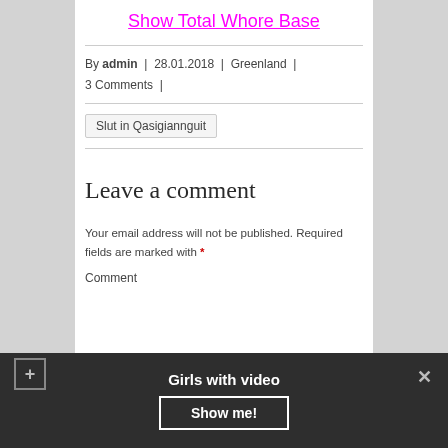Show Total Whore Base
By admin | 28.01.2018 | Greenland | 3 Comments |
Slut in Qasigiannguit
Leave a comment
Your email address will not be published. Required fields are marked with *
Comment
Girls with video
Show me!